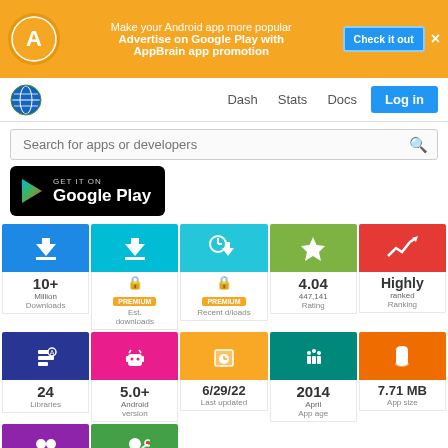Make your Android app more popular  Advertise on Google Play with AppBrain app promotion  Check it out  ×
Dash  Stats  Docs  Log in
Search for apps or developers
[Figure (logo): GET IT ON Google Play badge]
| Metric | Value | Label |
| --- | --- | --- |
| Downloads | 10+
Million | Downloads |
| Est. downloads | PREMIUM | Est. downloads |
| Recent d/loads | PREMIUM | Recent d/loads |
| Rating | 4.04
447,141 | Rating |
| Ranking | Highly
ranked | Ranking |
| Libraries | 24 | Libraries |
| Android version | 5.0+ | Android version |
| Last updated | 6/29/22 | Last updated |
| App age | 2014
April | App age |
| App size | 7.71 MB | App size |